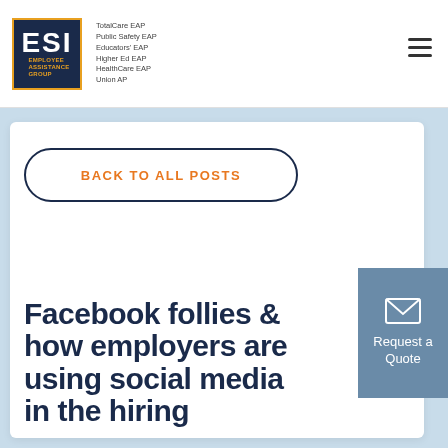[Figure (logo): ESI Employee Assistance Group logo with navy blue box, ESI text, and list of EAP services]
TotalCare EAP
Public Safety EAP
Educators' EAP
Higher Ed EAP
HealthCare EAP
Union AP
BACK TO ALL POSTS
[Figure (other): Request a Quote button with envelope icon]
Facebook follies & how employers are using social media in the hiring...